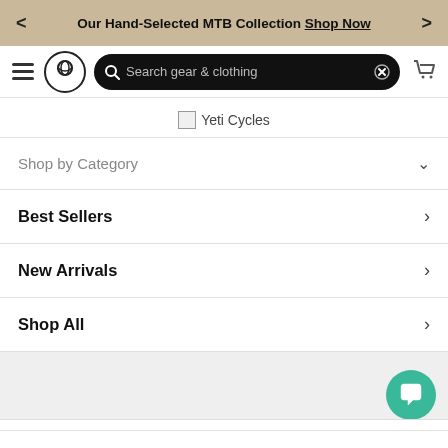< Our Hand-Selected MTB Collection Shop Now >
[Figure (screenshot): Navigation bar with hamburger menu, logo circle, search bar reading 'Search gear & clothing', and cart icon]
[Figure (logo): Yeti Cycles logo image placeholder]
Shop by Category (with down chevron)
Best Sellers (with right chevron)
New Arrivals (with right chevron)
Shop All (with right chevron)
[Figure (screenshot): Gray section with green chat button in bottom-right corner]
Take 15% Off Your First Order!